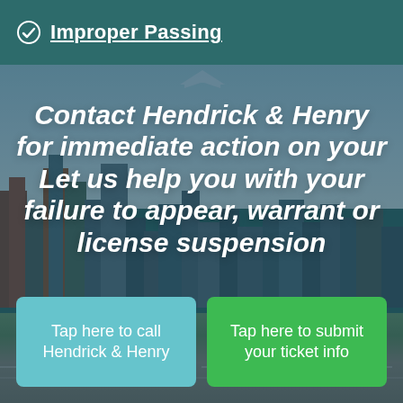Improper Passing
[Figure (photo): Aerial/skyline photo of Atlanta city with tall buildings, highways, and green spaces, overlaid with dark teal tint]
Contact Hendrick & Henry for immediate action on your Let us help you with your failure to appear, warrant or license suspension
Tap here to call Hendrick & Henry
Tap here to submit your ticket info